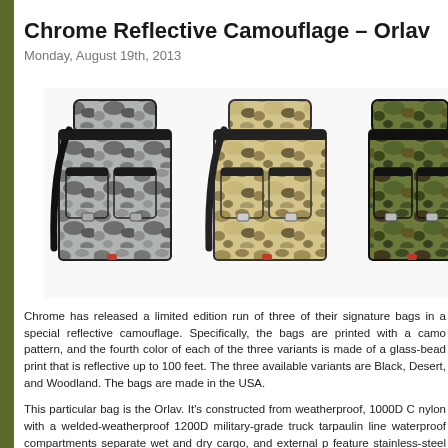Chrome Reflective Camouflage – Orlav
Monday, August 19th, 2013
[Figure (photo): Three Chrome Orlav backpacks in reflective camouflage variants: Black (grey camo), Desert (tan/beige camo), and Woodland (green camo). Each bag has two front pockets with buckle straps and a roll-top closure.]
Chrome has released a limited edition run of three of their signature bags in a special reflective camouflage. Specifically, the bags are printed with a camo pattern, and the fourth color of each of the three variants is made of a glass-bead print that is reflective up to 100 feet. The three available variants are Black, Desert, and Woodland. The bags are made in the USA.
This particular bag is the Orlav. It's constructed from weatherproof, 1000D C nylon with a welded-weatherproof 1200D military-grade truck tarpaulin line waterproof compartments separate wet and dry cargo, and external p feature stainless-steel hardware for quick, secure access to u-lock and wor The Orlav also features daisy-chain mounting loop for attaching carabineer c bike lights, and a zippered pocket designed to fit up to a Macbook Pro 15...